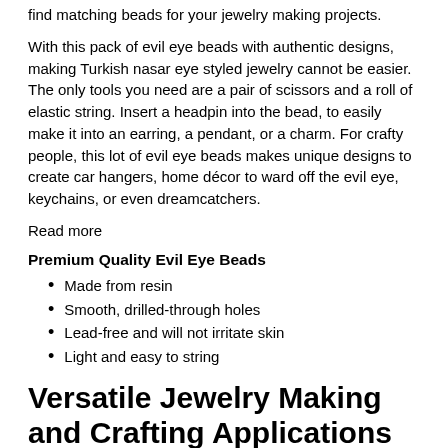find matching beads for your jewelry making projects.
With this pack of evil eye beads with authentic designs, making Turkish nasar eye styled jewelry cannot be easier. The only tools you need are a pair of scissors and a roll of elastic string. Insert a headpin into the bead, to easily make it into an earring, a pendant, or a charm. For crafty people, this lot of evil eye beads makes unique designs to create car hangers, home décor to ward off the evil eye, keychains, or even dreamcatchers.
Read more
Premium Quality Evil Eye Beads
Made from resin
Smooth, drilled-through holes
Lead-free and will not irritate skin
Light and easy to string
Versatile Jewelry Making and Crafting Applications
Design evil eye bracelets, pendants, necklace, anklets, or